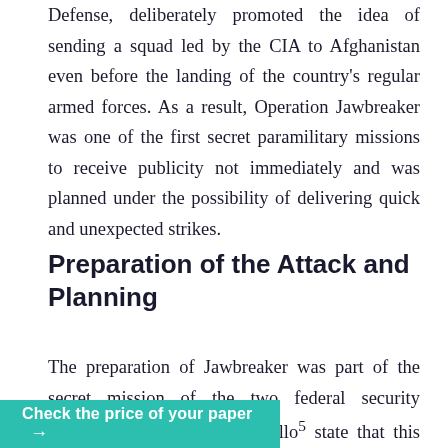Defense, deliberately promoted the idea of sending a squad led by the CIA to Afghanistan even before the landing of the country's regular armed forces. As a result, Operation Jawbreaker was one of the first secret paramilitary missions to receive publicity not immediately and was planned under the possibility of delivering quick and unexpected strikes.
Preparation of the Attack and Planning
The preparation of Jawbreaker was part of the secret mission of the two federal security agencies. Berntsen and Pezzullo⁵ state that this campaign was a product of the development of the CIA and the FBI, which interacted together and worked in a cooperative … oate in the
Check the price of your paper →